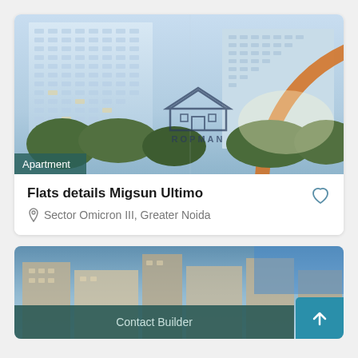[Figure (photo): Tall modern residential apartment building with many balconies and glass facade, trees in foreground, ROPMAN watermark/logo overlay, orange semi-circle graphic element. Badge reading 'Apartment' at bottom left.]
Flats details Migsun Ultimo
Sector Omicron III, Greater Noida
[Figure (photo): Partial view of another property/building in the lower card. 'Contact Builder' button overlaid at bottom with an upward arrow button on the right.]